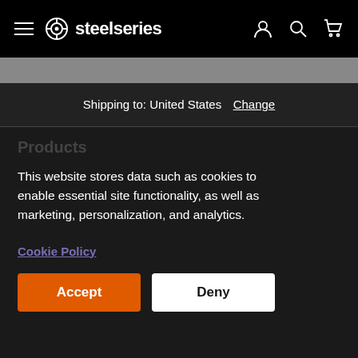steelseries
Shipping to: United States  Change
Products
This website stores data such as cookies to enable essential site functionality, as well as marketing, personalization, and analytics.
Cookie Policy
Accept  Deny